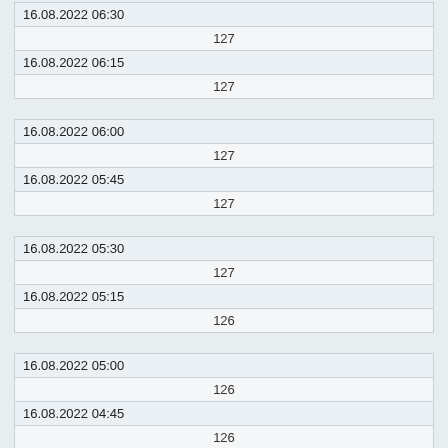| Datetime | Value |
| --- | --- |
| 16.08.2022 06:30 | 127 |
| 16.08.2022 06:15 | 127 |
| 16.08.2022 06:00 | 127 |
| 16.08.2022 05:45 | 127 |
| 16.08.2022 05:30 | 127 |
| 16.08.2022 05:15 | 126 |
| 16.08.2022 05:00 | 126 |
| 16.08.2022 04:45 | 126 |